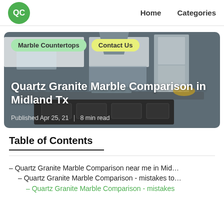QC | Home | Categories
[Figure (photo): Hero image of a modern kitchen with white cabinets and dark island, overlaid with article title and metadata. Badges for 'Marble Countertops' and 'Contact Us' appear in the top-left corner.]
Quartz Granite Marble Comparison in Midland Tx
Published Apr 25, 21 | 8 min read
Table of Contents
– Quartz Granite Marble Comparison near me in Mid…
– Quartz Granite Marble Comparison - mistakes to…
Quartz Granite Marble Comparison - mistakes